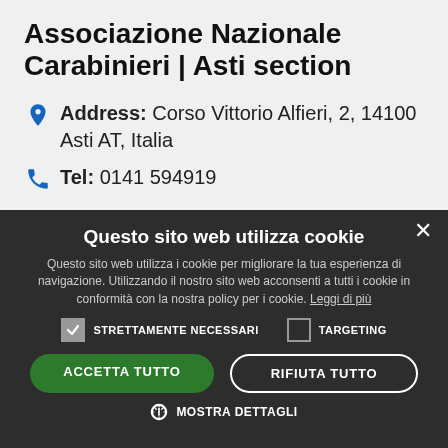Associazione Nazionale Carabinieri | Asti section
Address: Corso Vittorio Alfieri, 2, 14100 Asti AT, Italia
Tel: 0141 594919
Questo sito web utilizza cookie
Questo sito web utilizza i cookie per migliorare la tua esperienza di navigazione. Utilizzando il nostro sito web acconsenti a tutti i cookie in conformità con la nostra policy per i cookie. Leggi di più
STRETTAMENTE NECESSARI  TARGETING
ACCETTA TUTTO  RIFIUTA TUTTO
MOSTRA DETTAGLI